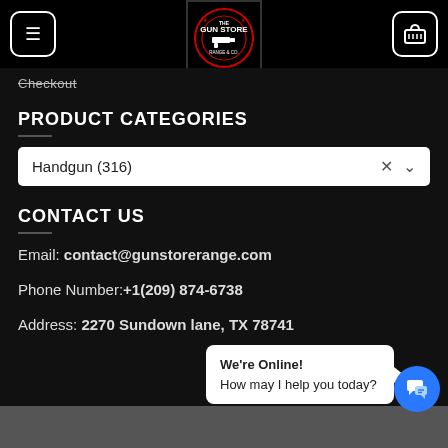The Gun Store - Navigation header with menu and cart buttons
Checkout
PRODUCT CATEGORIES
Handgun (316)
CONTACT US
Email: contact@gunstorerange.com
Phone Number: +1(209) 874-6738
Address: 2270 Sundown lane, TX 78741
We're Online!
How may I help you today?